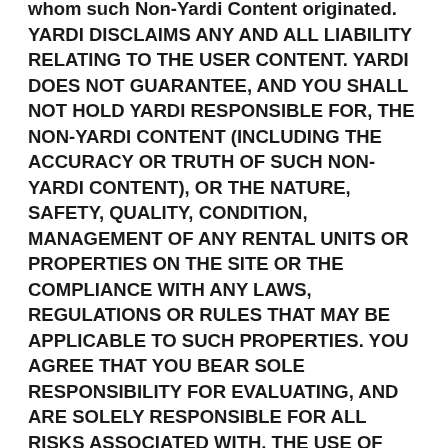whom such Non-Yardi Content originated. YARDI DISCLAIMS ANY AND ALL LIABILITY RELATING TO THE USER CONTENT. YARDI DOES NOT GUARANTEE, AND YOU SHALL NOT HOLD YARDI RESPONSIBLE FOR, THE NON-YARDI CONTENT (INCLUDING THE ACCURACY OR TRUTH OF SUCH NON-YARDI CONTENT), OR THE NATURE, SAFETY, QUALITY, CONDITION, MANAGEMENT OF ANY RENTAL UNITS OR PROPERTIES ON THE SITE OR THE COMPLIANCE WITH ANY LAWS, REGULATIONS OR RULES THAT MAY BE APPLICABLE TO SUCH PROPERTIES. YOU AGREE THAT YOU BEAR SOLE RESPONSIBILITY FOR EVALUATING, AND ARE SOLELY RESPONSIBLE FOR ALL RISKS ASSOCIATED WITH, THE USE OF ANY NON-YARDI CONTENT, AND THAT UNDER NO CIRCUMSTANCES WILL YARDI BE LIABLE FOR ANY NON-YARDI CONTENT OR FOR ANY DAMAGE OR LOSS OF ANY KIND INCURRED AS A